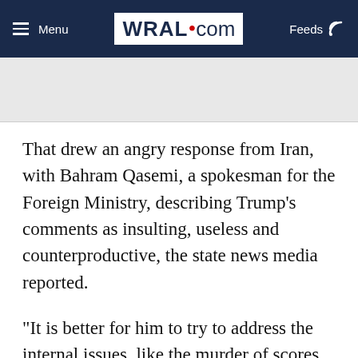Menu | WRAL.com | Feeds
That drew an angry response from Iran, with Bahram Qasemi, a spokesman for the Foreign Ministry, describing Trump's comments as insulting, useless and counterproductive, the state news media reported.
“It is better for him to try to address the internal issues, like the murder of scores killed on a daily basis in the United States